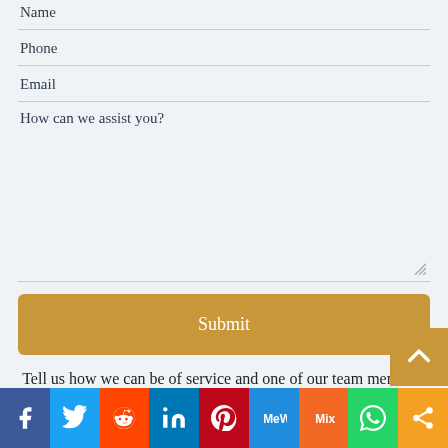Name
Phone
Email
How can we assist you?
Submit
Tell us how we can be of service and one of our team members will contact you.
Social share bar: Facebook, Twitter, Reddit, LinkedIn, Pinterest, MeWe, Mix, WhatsApp, More